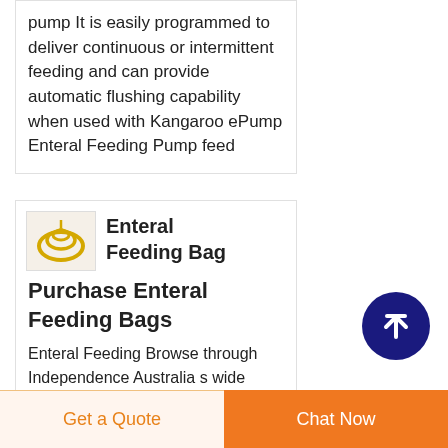pump It is easily programmed to deliver continuous or intermittent feeding and can provide automatic flushing capability when used with Kangaroo ePump Enteral Feeding Pump feed
[Figure (illustration): Small product thumbnail image showing enteral feeding bag/tube coiled in yellow/gold color on light background]
Enteral Feeding Bag Purchase Enteral Feeding Bags
Enteral Feeding Browse through Independence Australia s wide range of enteral feeding products